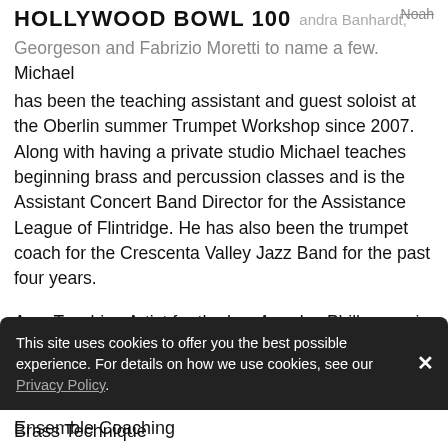HOLLYWOOD BOWL 100 ... andra Banhardt, Noah Georgeson and Fabrizio Moretti to name a few.
Michael has been the teaching assistant and guest soloist at the Oberlin summer Trumpet Workshop since 2007. Along with having a private studio Michael teaches beginning brass and percussion classes and is the Assistant Concert Band Director for the Assistance League of Flintridge. He has also been the trumpet coach for the Crescenta Valley Jazz Band for the past four years.
As a Teaching Artist for the Los Angeles Philharmonic I bring the following skills your program:
Trumpet Pedagody and Performance
Ensemble Coaching
This site uses cookies to offer you the best possible experience. For details on how we use cookies, see our Privacy Policy.
Brass Technique